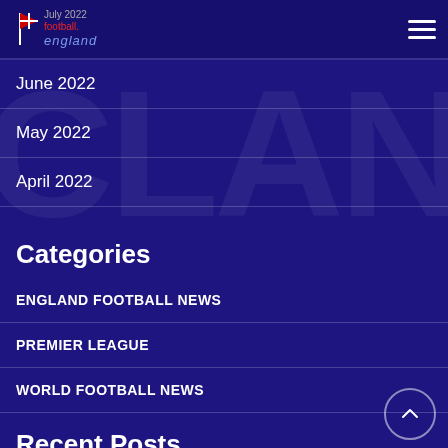July 2022 football england
June 2022
May 2022
April 2022
Categories
ENGLAND FOOTBALL NEWS
PREMIER LEAGUE
WORLD FOOTBALL NEWS
Recent Posts
PREMIER LEAGUE